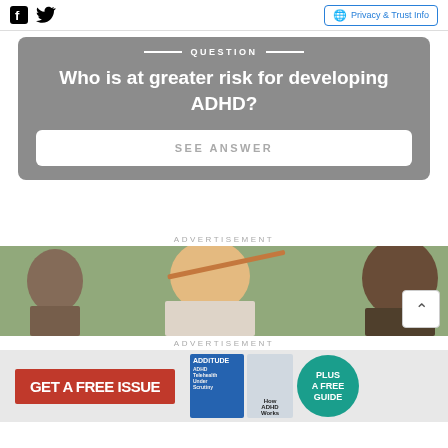Facebook Twitter | Privacy & Trust Info
QUESTION
Who is at greater risk for developing ADHD?
SEE ANSWER
ADVERTISEMENT
[Figure (photo): Children in a classroom setting; a blonde child in the center is holding a pencil up to her lips, with other children visible on either side]
ADVERTISEMENT
[Figure (infographic): ADDitude magazine advertisement banner: GET A FREE ISSUE on left in red box, magazine covers in middle, PLUS A FREE GUIDE in teal circle on right]